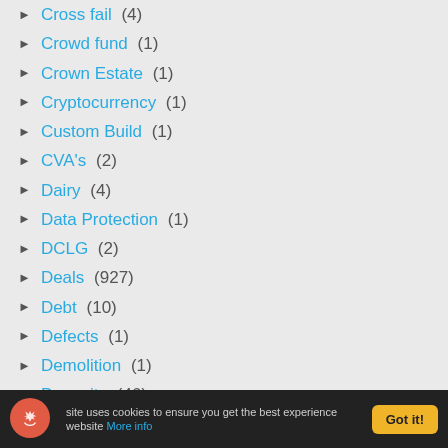Cross fail (4)
Crowd fund (1)
Crown Estate (1)
Cryptocurrency (1)
Custom Build (1)
CVA's (2)
Dairy (4)
Data Protection (1)
DCLG (2)
Deals (927)
Debt (10)
Defects (1)
Demolition (1)
Deposits (46)
Design (1)
This website uses cookies to ensure you get the best experience on our website. More info. Got it!